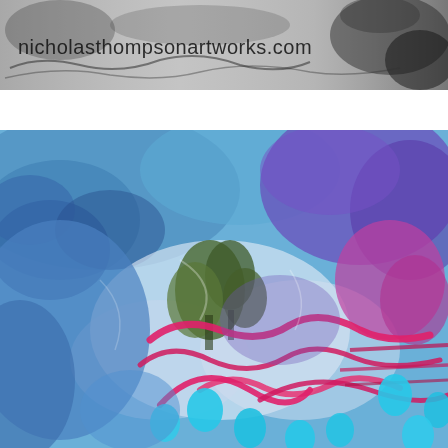[Figure (photo): Header banner showing a grayscale/monochrome artistic texture or painting background with the text 'nicholasthompsonartworks.com' overlaid in dark letters, with abstract dark shapes on the right side.]
[Figure (photo): Close-up photograph of a mixed-media textile artwork featuring blue, purple, magenta/pink, cyan, green, and white colors. The piece shows felt or fiber textures with bold pink/red curving brushstroke-like lines, cyan teardrop/oval shapes, olive green organic forms resembling trees or foliage, and deep blue and purple fibrous backgrounds creating a layered, abstract composition.]